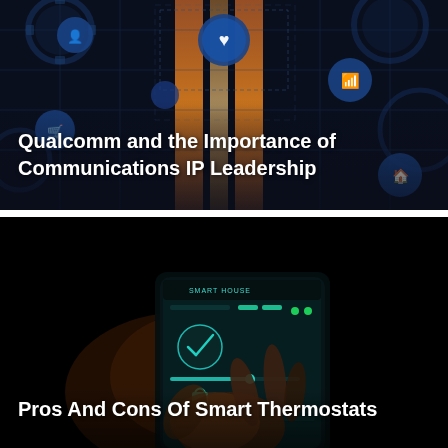[Figure (photo): Dark technology background with glowing blue gear and IoT icon circles connected by circuit lines, orange light pillars in center. Title text overlay: 'Qualcomm and the Importance of Communications IP Leadership']
[Figure (photo): Dark/black background showing a hand holding a glowing smart phone/tablet displaying a 'Smart House' control interface with teal/green UI elements. Title text overlay: 'Pros And Cons Of Smart Thermostats']